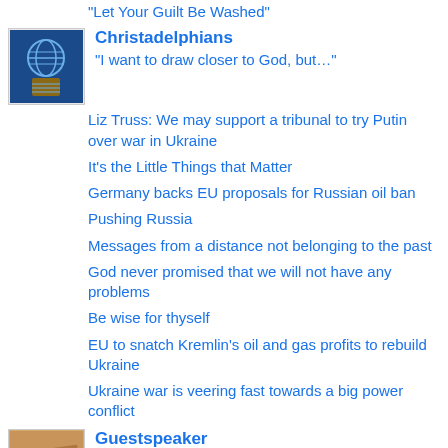"Let Your Guilt Be Washed"
Christadelphians — "I want to draw closer to God, but…"
Liz Truss: We may support a tribunal to try Putin over war in Ukraine
It's the Little Things that Matter
Germany backs EU proposals for Russian oil ban
Pushing Russia
Messages from a distance not belonging to the past
God never promised that we will not have any problems
Be wise for thyself
EU to snatch Kremlin's oil and gas profits to rebuild Ukraine
Ukraine war is veering fast towards a big power conflict
Guestspeaker — People everywhere should send a clear message to the fossil fuel industry and their financiers
What matter most in life
Net alsof je op Ibiza bent wanneer je de tuin van Esmee binnenloopt
History of dreaming, and connection with spirit #3
Dream interpretation an it's problems #2